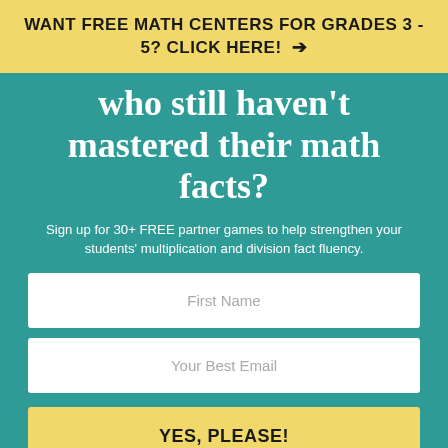WANT FREE MATH CENTERS FOR GRADES 3-5? CLICK HERE! →
who still haven't mastered their math facts?
Sign up for 30+ FREE partner games to help strengthen your students' multiplication and division fact fluency.
First Name
Your Best Email
YES, PLEASE!